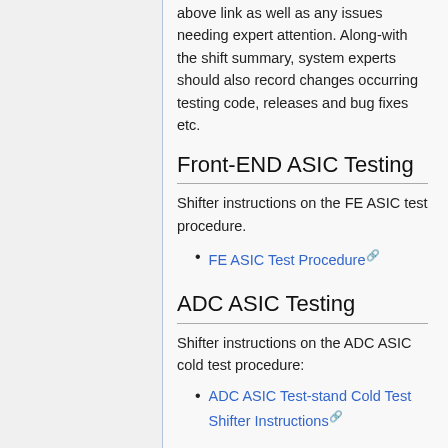above link as well as any issues needing expert attention. Along-with the shift summary, system experts should also record changes occurring testing code, releases and bug fixes etc.
Front-END ASIC Testing
Shifter instructions on the FE ASIC test procedure.
FE ASIC Test Procedure
ADC ASIC Testing
Shifter instructions on the ADC ASIC cold test procedure:
ADC ASIC Test-stand Cold Test Shifter Instructions
Expert instructions on ADC ASIC test procedures: